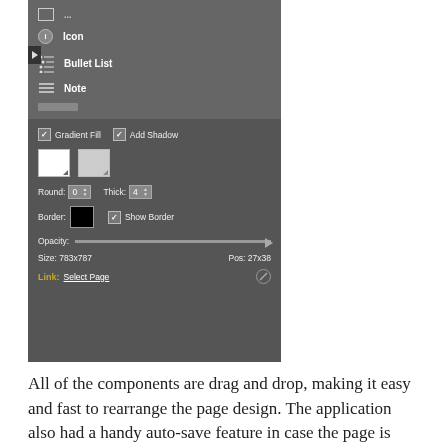[Figure (screenshot): Screenshot of a UI panel showing component options including Icon, Bullet List, Note items at top, and below a properties panel with Gradient Fill, Add Shadow checkboxes, color swatches, Round/Thick spinners, Border/Show Border controls, Opacity slider, Size and Pos readouts, and a Link selector with Select Page option.]
All of the components are drag and drop, making it easy and fast to rearrange the page design. The application also had a handy auto-save feature in case the page is accidentally closed. After a